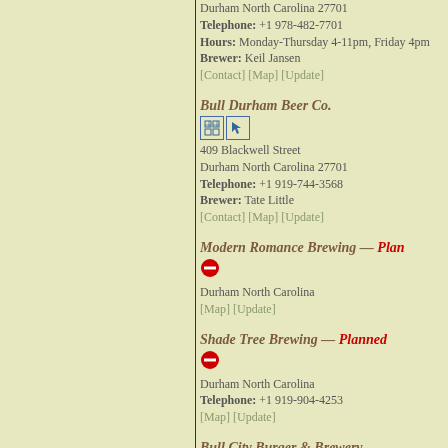Durham North Carolina 27701
Telephone: +1 978-482-7701
Hours: Monday-Thursday 4-11pm, Friday 4pm...
Brewer: Keil Jansen
[Contact] [Map] [Update]
Bull Durham Beer Co.
409 Blackwell Street
Durham North Carolina 27701
Telephone: +1 919-744-3568
Brewer: Tate Little
[Contact] [Map] [Update]
Modern Romance Brewing — Planned
Durham North Carolina
[Map] [Update]
Shade Tree Brewing — Planned
Durham North Carolina
Telephone: +1 919-904-4253
[Map] [Update]
Bull City Burger & Brewery
107 East Parrish Street
Suite 105